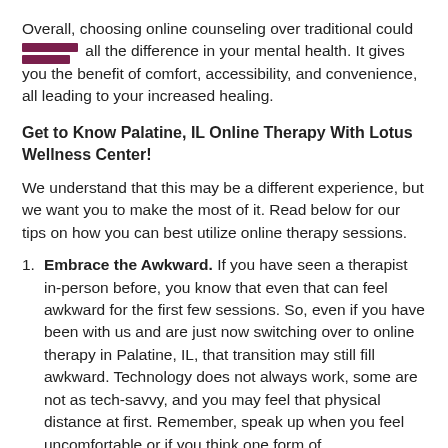Overall, choosing online counseling over traditional could make all the difference in your mental health. It gives you the benefit of comfort, accessibility, and convenience, all leading to your increased healing.
Get to Know Palatine, IL Online Therapy With Lotus Wellness Center!
We understand that this may be a different experience, but we want you to make the most of it. Read below for our tips on how you can best utilize online therapy sessions.
Embrace the Awkward. If you have seen a therapist in-person before, you know that even that can feel awkward for the first few sessions. So, even if you have been with us and are just now switching over to online therapy in Palatine, IL, that transition may still fill awkward. Technology does not always work, some are not as tech-savvy, and you may feel that physical distance at first. Remember, speak up when you feel uncomfortable or if you think one form of communication works better for you than others.
Find a Safe Space. Now is truly the time to make your therapy